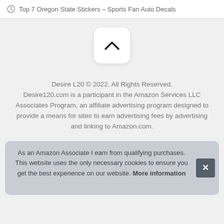Top 7 Oregon State Stickers – Sports Fan Auto Decals
[Figure (other): Scroll-to-top button: white rounded rectangle with a upward chevron arrow icon]
Desire L20 © 2022. All Rights Reserved. Desire120.com is a participant in the Amazon Services LLC Associates Program, an affiliate advertising program designed to provide a means for sites to earn advertising fees by advertising and linking to Amazon.com.
As an Amazon Associate I earn from qualifying purchases. This website uses the only necessary cookies to ensure you get the best experience on our website. More information